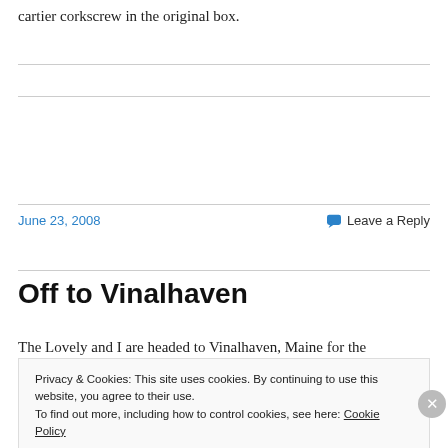cartier corkscrew in the original box.
June 23, 2008
Leave a Reply
Off to Vinalhaven
The Lovely and I are headed to Vinalhaven, Maine for the
Privacy & Cookies: This site uses cookies. By continuing to use this website, you agree to their use.
To find out more, including how to control cookies, see here: Cookie Policy
Close and accept